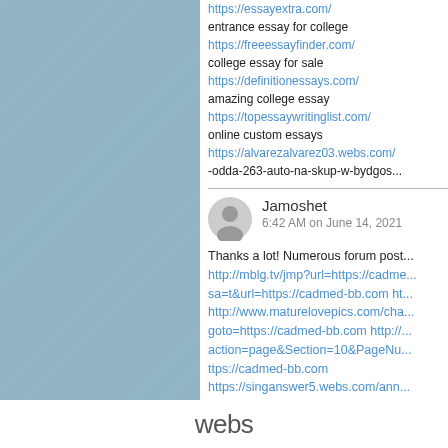[Figure (other): Blue-grey textile/fabric texture panel on the left side of the page]
https://essayextra.com/
entrance essay for college
https://freeessayfinder.com/
college essay for sale
https://definitionessays.com/
amazing college essay
https://topessaywritinglist.com/
online custom essays
https://alvarezalvarez03.webs.com/...
-odda-263-auto-na-skup-w-bydgos...
Jamoshet
6:42 AM on June 14, 2021
Thanks a lot! Numerous forum post...
http://mblg.tv/jmp?url=https://cadme...
sa=t&url=https://cadmed-bb.com http...
http://www.maturelovepics.com/cha...
goto=https://cadmed-bb.com http://...
action=page&Section=10&PageNu...
ttps://cadmed-bb.com
https://singanswer5.webs.com/ann...
webs